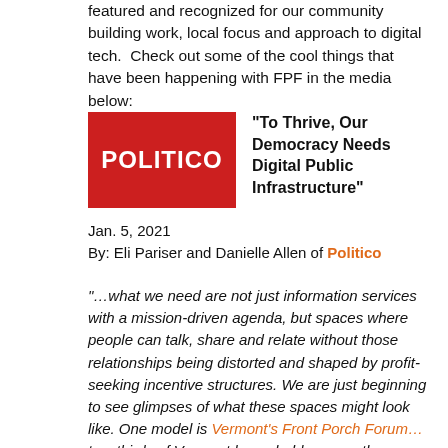featured and recognized for our community building work, local focus and approach to digital tech.  Check out some of the cool things that have been happening with FPF in the media below:
[Figure (logo): Politico logo — white text 'POLITICO' on red background]
“To Thrive, Our Democracy Needs Digital Public Infrastructure”
Jan. 5, 2021
By: Eli Pariser and Danielle Allen of Politico
“…what we need are not just information services with a mission-driven agenda, but spaces where people can talk, share and relate without those relationships being distorted and shaped by profit-seeking incentive structures. We are just beginning to see glimpses of what these spaces might look like. One model is Vermont’s Front Porch Forum… two-thirds of Vermont households are on the Forum,